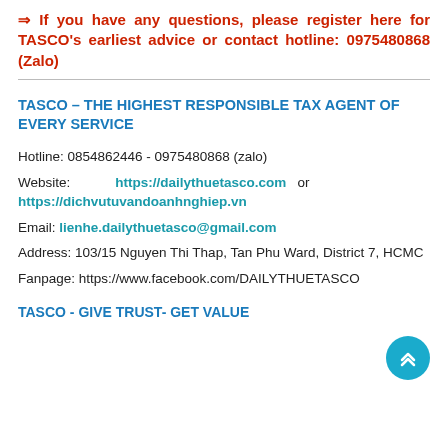⇒ If you have any questions, please register here for TASCO's earliest advice or contact hotline: 0975480868 (Zalo)
TASCO – THE HIGHEST RESPONSIBLE TAX AGENT OF EVERY SERVICE
Hotline: 0854862446 - 0975480868 (zalo)
Website: https://dailythuetasco.com or https://dichvutuvandoanhnghiep.vn
Email: lienhe.dailythuetasco@gmail.com
Address: 103/15 Nguyen Thi Thap, Tan Phu Ward, District 7, HCMC
Fanpage: https://www.facebook.com/DAILYTHUETASCO
TASCO - GIVE TRUST- GET VALUE